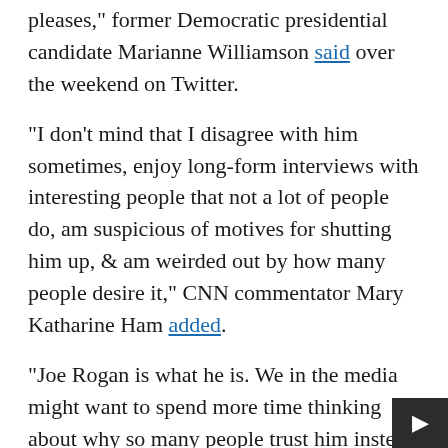pleases," former Democratic presidential candidate Marianne Williamson said over the weekend on Twitter.
"I don't mind that I disagree with him sometimes, enjoy long-form interviews with interesting people that not a lot of people do, am suspicious of motives for shutting him up, & am weirded out by how many people desire it," CNN commentator Mary Katharine Ham added.
"Joe Rogan is what he is. We in the media might want to spend more time thinking about why so many people trust him instead of us," New York Times reporter Matthew Rosenberg said.
However, criticism of Rogan has also come from predictable sources.